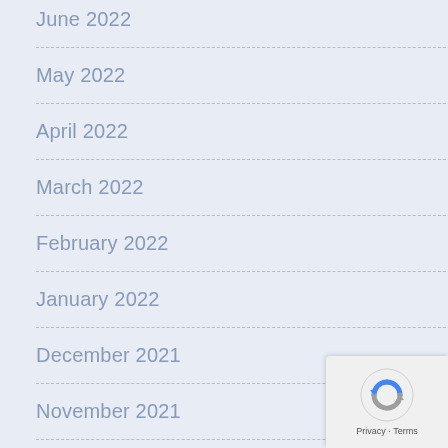June 2022
May 2022
April 2022
March 2022
February 2022
January 2022
December 2021
November 2021
September 2021
August 2021